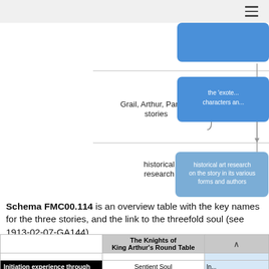[Figure (flowchart): Partial diagram showing two categories: 'Grail, Arthur, Parsifal stories' linked to [2.1], and 'historical research' linked to [2.5]. Blue rounded boxes on the right show 'the exo... characters an...' and 'historical art research on the story in its various forms and authors'. Arrows connect the boxes.]
Schema FMC00.114 is an overview table with the key names for the three stories, and the link to the threefold soul (see 1913-02-07-GA144)
|  | The Knights of King Arthur's Round Table | ^ |
| --- | --- | --- |
|  |  |  |
| Initiation experience through | Sentient Soul | In... |
|  |  |  |
| name of the castle | Camelot [3] | Montsa... (which means:... |
| location of castle | Tintagel, UK |  |